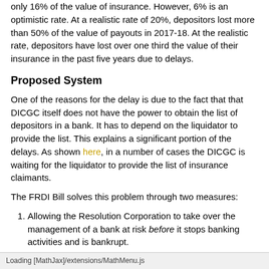only 16% of the value of insurance. However, 6% is an optimistic rate. At a realistic rate of 20%, depositors lost more than 50% of the value of payouts in 2017-18. At the realistic rate, depositors have lost over one third the value of their insurance in the past five years due to delays.
Proposed System
One of the reasons for the delay is due to the fact that that DICGC itself does not have the power to obtain the list of depositors in a bank. It has to depend on the liquidator to provide the list. This explains a significant portion of the delays. As shown here, in a number of cases the DICGC is waiting for the liquidator to provide the list of insurance claimants.
The FRDI Bill solves this problem through two measures:
Allowing the Resolution Corporation to take over the management of a bank at risk before it stops banking activities and is bankrupt.
Combining the function of the liquidator/receiver and
Loading [MathJax]/extensions/MathMenu.js